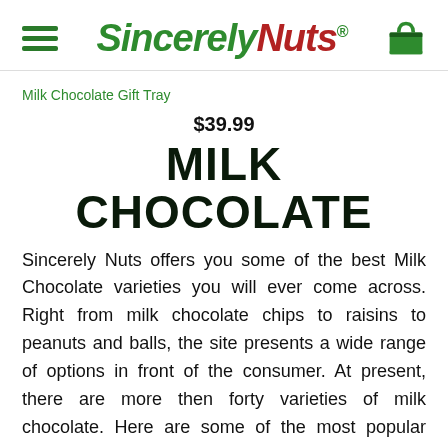Sincerely Nuts
Milk Chocolate Gift Tray
$39.99
MILK CHOCOLATE
Sincerely Nuts offers you some of the best Milk Chocolate varieties you will ever come across. Right from milk chocolate chips to raisins to peanuts and balls, the site presents a wide range of options in front of the consumer. At present, there are more then forty varieties of milk chocolate. Here are some of the most popular forms of this product at Sincerely Nuts.